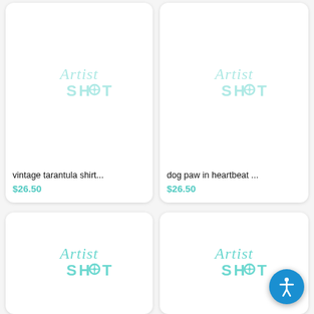[Figure (logo): ArtistShot placeholder logo - teal/mint colored script text 'Artist' above bold 'SHOT' with crosshair icon, for product: vintage tarantula shirt]
vintage tarantula shirt...
$26.50
[Figure (logo): ArtistShot placeholder logo - teal/mint colored script text 'Artist' above bold 'SHOT' with crosshair icon, for product: dog paw in heartbeat]
dog paw in heartbeat ...
$26.50
[Figure (logo): ArtistShot placeholder logo - teal/mint colored script text 'Artist' above bold 'SHOT' with crosshair icon, bottom left card (product partially visible)]
[Figure (logo): ArtistShot placeholder logo - teal/mint colored script text 'Artist' above bold 'SHOT' with crosshair icon, bottom right card (product partially visible)]